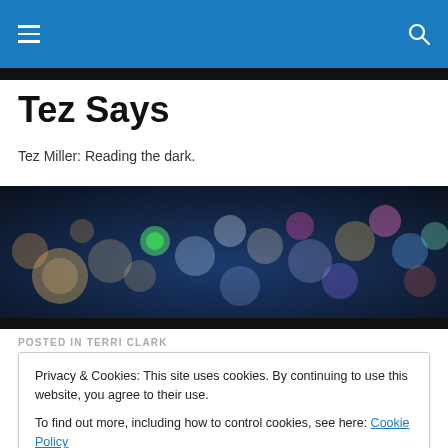Tez Says — navigation bar
Tez Says
Tez Miller: Reading the dark.
[Figure (photo): Blurred bokeh city lights at night, colorful out-of-focus light circles against dark blue background]
POSTED IN TERRI CLARK
Privacy & Cookies: This site uses cookies. By continuing to use this website, you agree to their use.
To find out more, including how to control cookies, see here: Cookie Policy
Close and accept